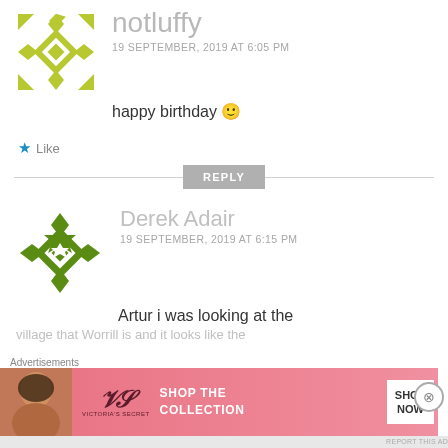[Figure (illustration): Avatar icon for user notluffy — olive/yellow-green geometric diamond/star pattern on white circular background, partially cropped at top]
notluffy
19 SEPTEMBER, 2019 AT 6:05 PM
happy birthday 🙂
★ Like
REPLY
[Figure (illustration): Avatar icon for user Derek Adair — olive/dark-green geometric star/diamond pattern on white circular background]
Derek Adair
19 SEPTEMBER, 2019 AT 6:15 PM
Artur i was looking at the
village that Worrill is and it looks like the
Advertisements
[Figure (photo): Victoria's Secret advertisement banner with model photo on left, VS logo, text SHOP THE COLLECTION, and SHOP NOW button]